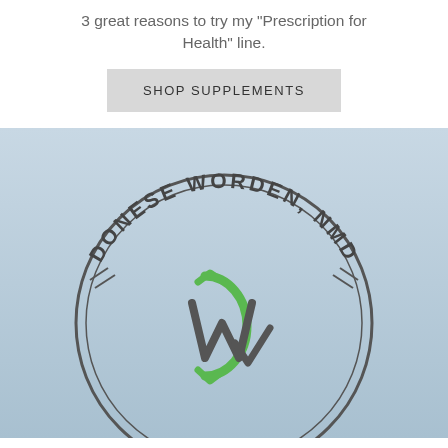3 great reasons to try my "Prescription for Health" line.
SHOP SUPPLEMENTS
[Figure (logo): Circular stamp/seal logo reading 'DONESE WORDEN, NMD' around the top arc and 'APPROVED' along the bottom arc, with a stylized DW monogram in the center (D in green, W in dark grey with a checkmark). Background is a light blue-grey gradient.]